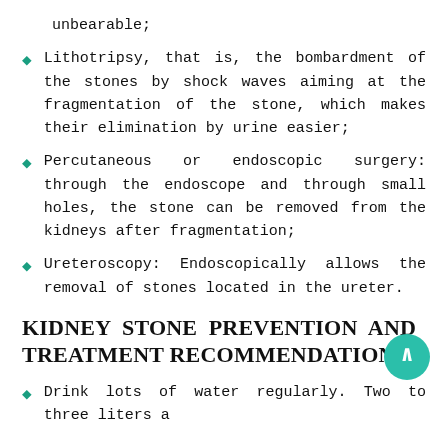unbearable;
Lithotripsy, that is, the bombardment of the stones by shock waves aiming at the fragmentation of the stone, which makes their elimination by urine easier;
Percutaneous or endoscopic surgery: through the endoscope and through small holes, the stone can be removed from the kidneys after fragmentation;
Ureteroscopy: Endoscopically allows the removal of stones located in the ureter.
KIDNEY STONE PREVENTION AND TREATMENT RECOMMENDATIONS
Drink lots of water regularly. Two to three liters a